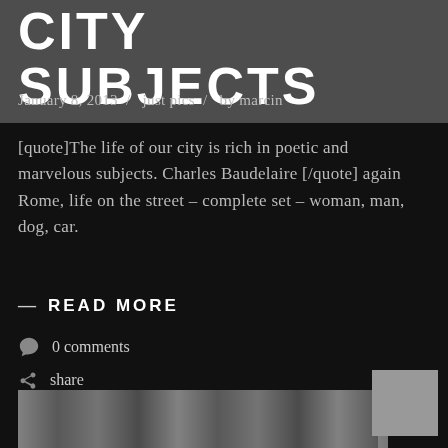CITY SUBJECTS
January 8, 2013  /  just pics  /  by marcin
[quote]The life of our city is rich in poetic and marvelous subjects. Charles Baudelaire [/quote] again Rome, life on the street – complete set – woman, man, dog, car.
— READ MORE
0 comments
share
[Figure (photo): Black and white street photography image visible at bottom of page, partially cropped]